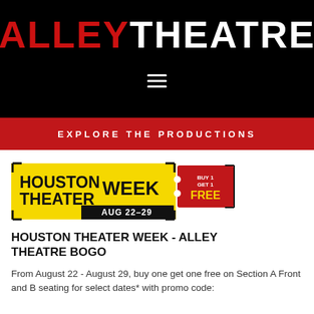ALLEY THEATRE
EXPLORE THE PRODUCTIONS
[Figure (illustration): Houston Theater Week promotional banner: yellow background with bold text 'HOUSTON THEATER WEEK' and a red ticket graphic reading 'BUY 1 GET 1 FREE' and 'AUG 22-29']
HOUSTON THEATER WEEK - ALLEY THEATRE BOGO
From August 22 - August 29, buy one get one free on Section A Front and B seating for select dates* with promo code: